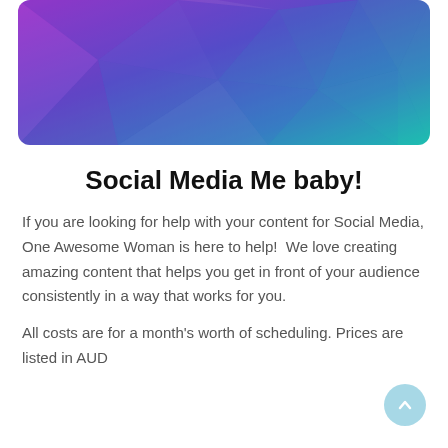[Figure (illustration): Abstract low-poly geometric background image with purple, blue, and teal gradient colors.]
Social Media Me baby!
If you are looking for help with your content for Social Media, One Awesome Woman is here to help!  We love creating amazing content that helps you get in front of your audience consistently in a way that works for you.
All costs are for a month's worth of scheduling. Prices are listed in AUD